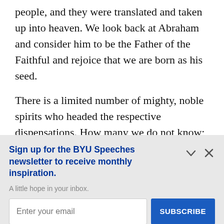people, and they were translated and taken up into heaven. We look back at Abraham and consider him to be the Father of the Faithful and rejoice that we are born as his seed.
There is a limited number of mighty, noble spirits who headed the respective dispensations. How many we do not know;
Sign up for the BYU Speeches newsletter to receive monthly inspiration.
A little hope in your inbox.
Enter your email
SUBSCRIBE